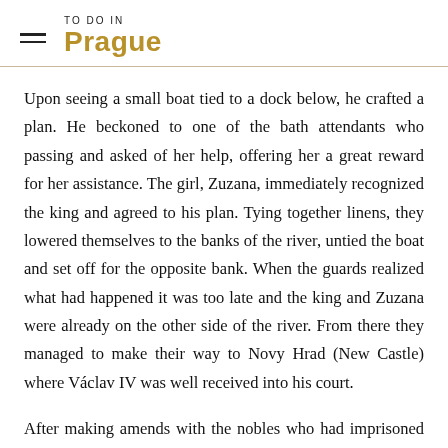TO DO IN Prague
Upon seeing a small boat tied to a dock below, he crafted a plan. He beckoned to one of the bath attendants who passing and asked of her help, offering her a great reward for her assistance. The girl, Zuzana, immediately recognized the king and agreed to his plan. Tying together linens, they lowered themselves to the banks of the river, untied the boat and set off for the opposite bank. When the guards realized what had happened it was too late and the king and Zuzana were already on the other side of the river. From there they managed to make their way to Novy Hrad (New Castle) where Václav IV was well received into his court.
After making amends with the nobles who had imprisoned him, the king went about setting order back into life And one of the things he did was to reward the young bath attendant by making her the proprietor of the new public baths that he had